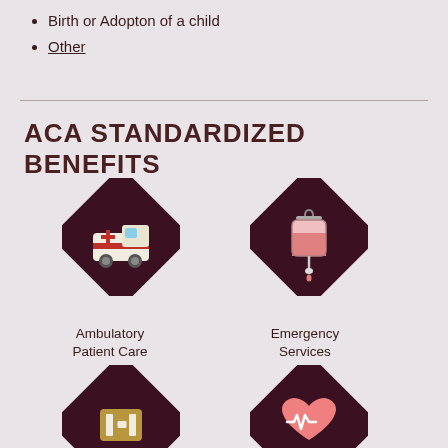Birth or Adopton of a child
Other
ACA STANDARDIZED BENEFITS
[Figure (infographic): Diamond-shaped dark maroon icon with ambulatory/ambulance illustration representing Ambulatory Patient Care]
Ambulatory Patient Care
[Figure (infographic): Diamond-shaped dark maroon icon with IV blood bag illustration representing Emergency Services]
Emergency Services
[Figure (infographic): Diamond-shaped dark maroon icon with hospital H symbol representing hospitalization]
[Figure (infographic): Diamond-shaped dark maroon icon with heart rate/EKG symbol representing health monitoring]